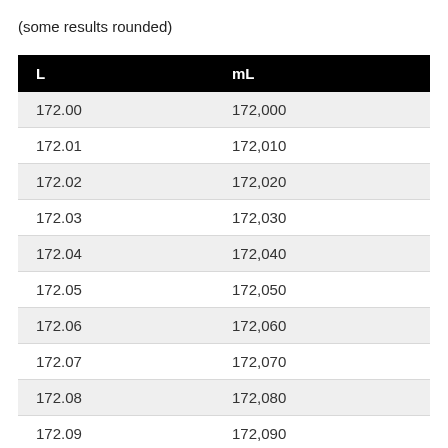(some results rounded)
| L | mL |
| --- | --- |
| 172.00 | 172,000 |
| 172.01 | 172,010 |
| 172.02 | 172,020 |
| 172.03 | 172,030 |
| 172.04 | 172,040 |
| 172.05 | 172,050 |
| 172.06 | 172,060 |
| 172.07 | 172,070 |
| 172.08 | 172,080 |
| 172.09 | 172,090 |
| 172.10 | 172,100 |